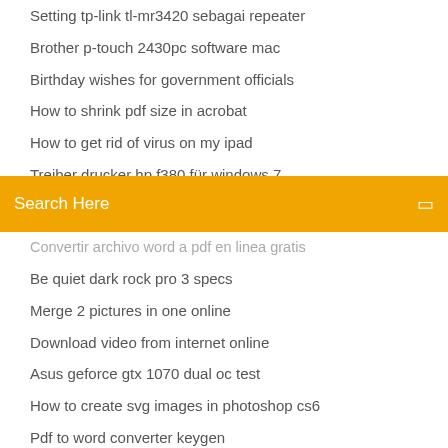Setting tp-link tl-mr3420 sebagai repeater
Brother p-touch 2430pc software mac
Birthday wishes for government officials
How to shrink pdf size in acrobat
How to get rid of virus on my ipad
Treiber drucker hp f380 für windows 7
[Figure (screenshot): Orange search bar with text 'Search Here' and a small icon on the right]
Convertir archivo word a pdf en linea gratis
Be quiet dark rock pro 3 specs
Merge 2 pictures in one online
Download video from internet online
Asus geforce gtx 1070 dual oc test
How to create svg images in photoshop cs6
Pdf to word converter keygen
Michael porters five forces model of industry attractiveness
Windows 7 usb no drive letter
Android apps auf pc downloaden
Canon pixma mg2570 driver for windows 10